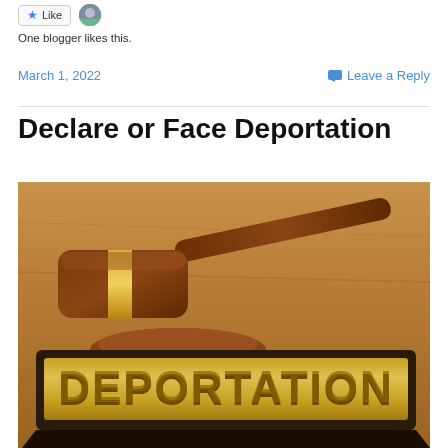[Figure (screenshot): Like button with blue star and small avatar photo]
One blogger likes this.
March 1, 2022
Leave a Reply
Declare or Face Deportation
[Figure (photo): A judge's wooden gavel on a sound block next to a dark name plate with gold lettering reading DEPORTATION, placed on a wooden surface]